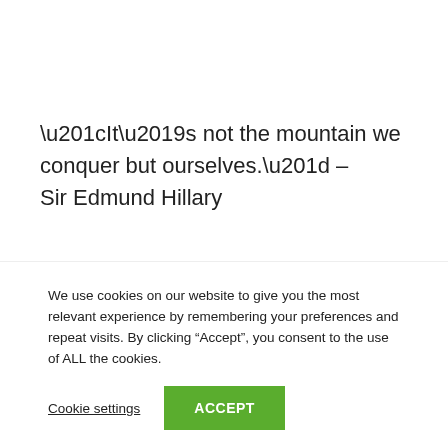“It’s not the mountain we conquer but ourselves.” – Sir Edmund Hillary
Quote Interpretation: Climbing a mountain is challenging, and when you make it to the top you prove your strength.
We use cookies on our website to give you the most relevant experience by remembering your preferences and repeat visits. By clicking “Accept”, you consent to the use of ALL the cookies.